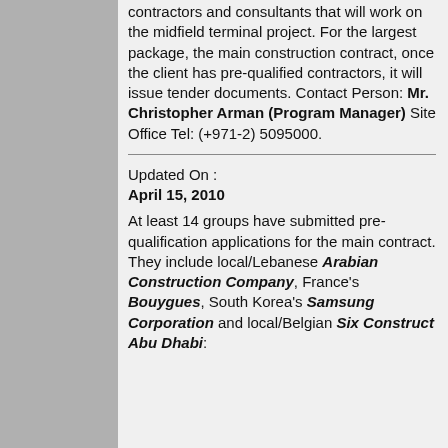contractors and consultants that will work on the midfield terminal project. For the largest package, the main construction contract, once the client has pre-qualified contractors, it will issue tender documents. Contact Person: Mr. Christopher Arman (Program Manager) Site Office Tel: (+971-2) 5095000.
Updated On : April 15, 2010
At least 14 groups have submitted pre-qualification applications for the main contract. They include local/Lebanese Arabian Construction Company, France's Bouygues, South Korea's Samsung Corporation and local/Belgian Six Construct Abu Dhabi: